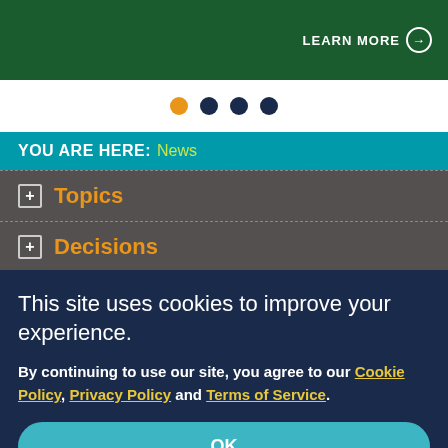LEARN MORE →
[Figure (infographic): Carousel navigation dots: one orange dot and three navy dots]
YOU ARE HERE: News
Topics
Decisions
Manage Your Care
This site uses cookies to improve your experience.

By continuing to use our site, you agree to our Cookie Policy, Privacy Policy and Terms of Service.
OK